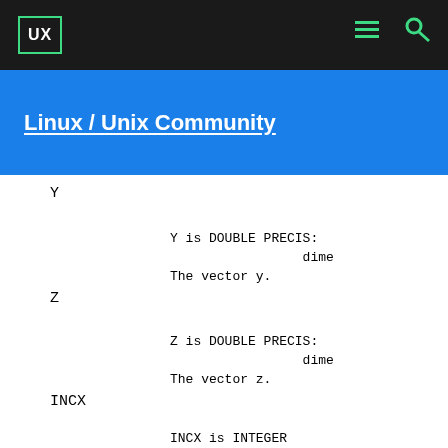UX
Linux / Unix Community
Y
Y is DOUBLE PRECIS:
                 dime
The vector y.
Z
Z is DOUBLE PRECIS:
                 dime
The vector z.
INCX
INCX is INTEGER
The increment betwe